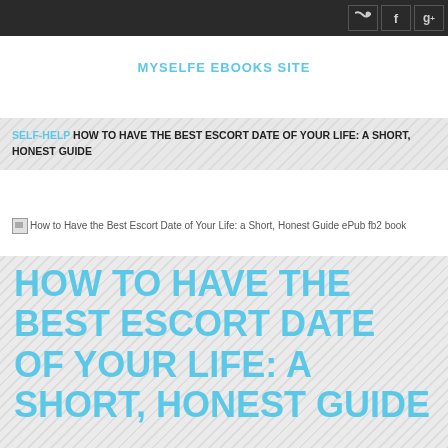MYSELFE EBOOKS SITE
SELF-HELP HOW TO HAVE THE BEST ESCORT DATE OF YOUR LIFE: A SHORT, HONEST GUIDE
[Figure (other): Broken image placeholder for book cover: How to Have the Best Escort Date of Your Life: a Short, Honest Guide ePub fb2 book]
HOW TO HAVE THE BEST ESCORT DATE OF YOUR LIFE: A SHORT, HONEST GUIDE